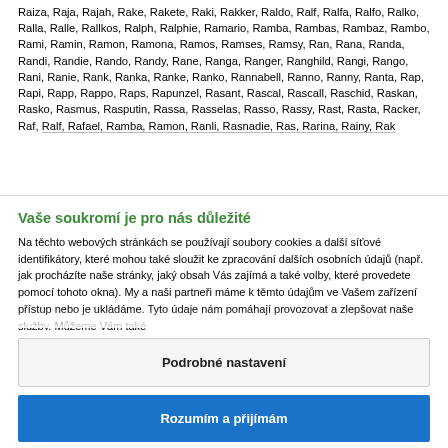Raiza, Raja, Rajah, Rake, Rakete, Raki, Rakker, Raldo, Ralf, Ralfa, Ralfo, Ralko, Ralla, Ralle, Rallkos, Ralph, Ralphie, Ramario, Ramba, Rambas, Rambaz, Rambo, Rami, Ramin, Ramon, Ramona, Ramos, Ramses, Ramsy, Ran, Rana, Randa, Randi, Randie, Rando, Randy, Rane, Ranga, Ranger, Ranghild, Rangi, Rango, Rani, Ranie, Rank, Ranka, Ranke, Ranko, Rannabell, Ranno, Ranny, Ranta, Rap, Rapi, Rapp, Rappo, Raps, Rapunzel, Rasant, Rascal, Rascall, Raschid, Raskan, Rasko, Rasmus, Rasputin, Rassa, Rasselas, Rasso, Rassy, Rast, Rasta, Racker, Raf, Ralf, Rafael, Ramba, Ramon, Ranli, Rasnadie, Ras, Rarina, Rainy, Rak…
Vaše soukromí je pro nás důležité
Na těchto webových stránkách se používají soubory cookies a další síťové identifikátory, které mohou také sloužit ke zpracování dalších osobních údajů (např. jak procházíte naše stránky, jaký obsah Vás zajímá a také volby, které provedete pomocí tohoto okna). My a naši partneři máme k těmto údajům ve Vašem zařízení přístup nebo je ukládáme. Tyto údaje nám pomáhají provozovat a zlepšovat naše služby. Můžeme Vám také…
Podrobné nastavení
Rozumím a přijímám